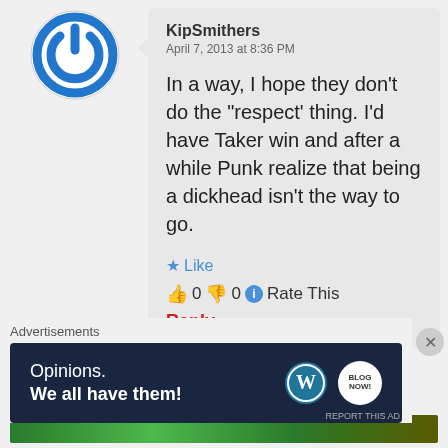[Figure (illustration): Blue circular power button icon as user avatar]
KipSmithers
April 7, 2013 at 8:36 PM
In a way, I hope they don’t do the “respect’ thing. I’d have Taker win and after a while Punk realize that being a dickhead isn’t the way to go.
★ Like
👍 0 👎 0 ℹ Rate This
Reply
Advertisements
[Figure (other): Green advertisement banner]
Advertisements
[Figure (other): Dark blue WordPress advertisement banner reading: Opinions. We all have them!]